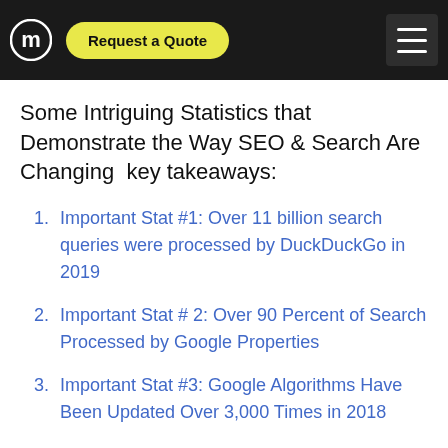Request a Quote
Some Intriguing Statistics that Demonstrate the Way SEO & Search Are Changing  key takeaways:
Important Stat #1: Over 11 billion search queries were processed by DuckDuckGo in 2019
Important Stat # 2: Over 90 Percent of Search Processed by Google Properties
Important Stat #3: Google Algorithms Have Been Updated Over 3,000 Times in 2018